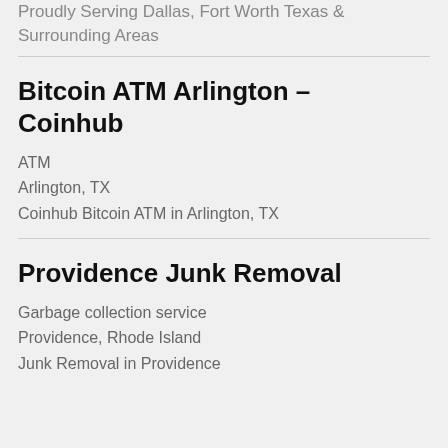Proudly Serving Dallas, Fort Worth Texas & Surrounding Areas
Bitcoin ATM Arlington – Coinhub
ATM
Arlington, TX
Coinhub Bitcoin ATM in Arlington, TX
Providence Junk Removal
Garbage collection service
Providence, Rhode Island
Junk Removal in Providence